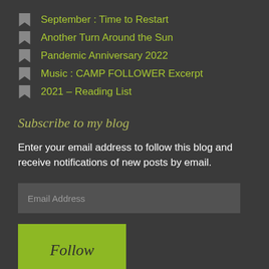September : Time to Restart
Another Turn Around the Sun
Pandemic Anniversary 2022
Music : CAMP FOLLOWER Excerpt
2021 – Reading List
Subscribe to my blog
Enter your email address to follow this blog and receive notifications of new posts by email.
Email Address
Follow